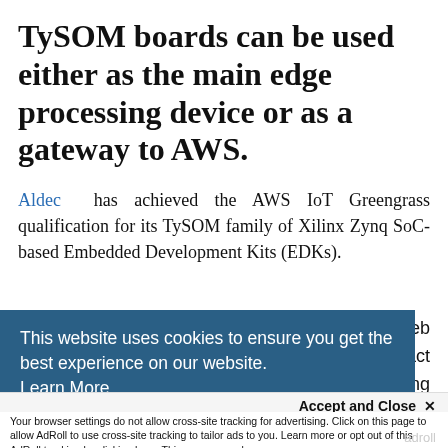TySOM boards can be used either as the main edge processing device or as a gateway to AWS.
Aldec has achieved the AWS IoT Greengrass qualification for its TySOM family of Xilinx Zynq SoC-based Embedded Development Kits (EDKs).
This website uses cookies to ensure you get the best experience on our website. Learn More
Web an act using and
Accept and Close ✕
Your browser settings do not allow cross-site tracking for advertising. Click on this page to allow AdRoll to use cross-site tracking to tailor ads to you. Learn more or opt out of this AdRoll tracking by clicking here. This message only appears once.